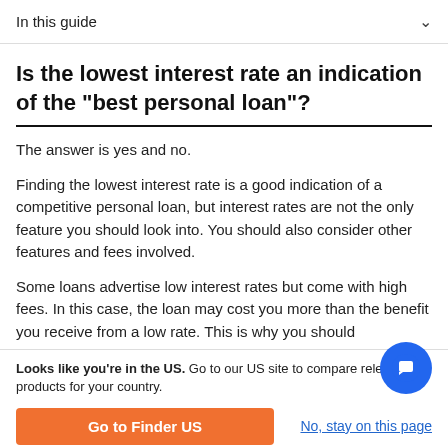In this guide
Is the lowest interest rate an indication of the "best personal loan"?
The answer is yes and no.
Finding the lowest interest rate is a good indication of a competitive personal loan, but interest rates are not the only feature you should look into. You should also consider other features and fees involved.
Some loans advertise low interest rates but come with high fees. In this case, the loan may cost you more than the benefit you receive from a low rate. This is why you should
Looks like you're in the US. Go to our US site to compare relevant products for your country.
Go to Finder US
No, stay on this page